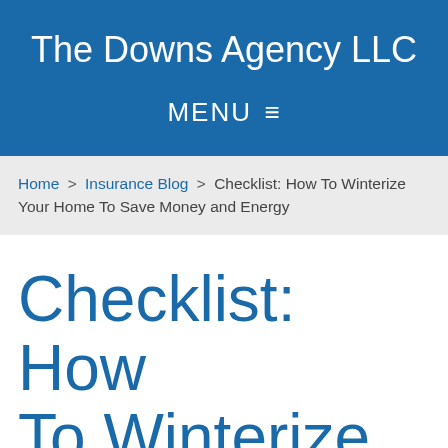The Downs Agency LLC
MENU
Home > Insurance Blog > Checklist: How To Winterize Your Home To Save Money and Energy
Checklist: How To Winterize